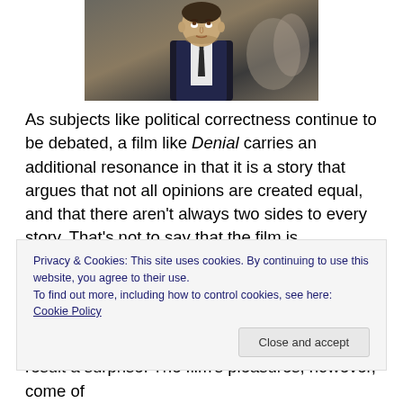[Figure (photo): A man in a dark vest and tie, photographed in what appears to be a courtroom or formal setting, looking upward.]
As subjects like political correctness continue to be debated, a film like Denial carries an additional resonance in that it is a story that argues that not all opinions are created equal, and that there aren't always two sides to every story. That's not to say that the film is undemocratic (scribe David Hare offers this counterclaim only to set up
result a surprise. The film's pleasures, however, come of
Privacy & Cookies: This site uses cookies. By continuing to use this website, you agree to their use.
To find out more, including how to control cookies, see here: Cookie Policy
Close and accept